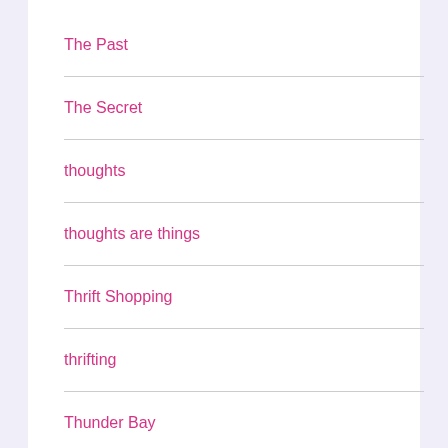The Past
The Secret
thoughts
thoughts are things
Thrift Shopping
thrifting
Thunder Bay
Transition
Trees